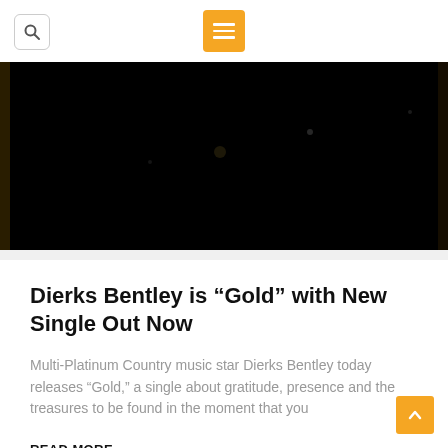[Figure (photo): Dark/black background image, likely a night sky or dark scene with faint light specks]
Dierks Bentley is “Gold” with New Single Out Now
Multi-Platinum Country music star Dierks Bentley today releases “Gold,” a single about gratitude, presence and the treasures to be found in the moment that you
READ MORE »